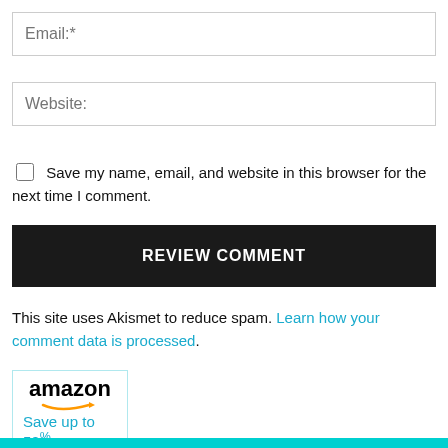Email:*
Website:
Save my name, email, and website in this browser for the next time I comment.
REVIEW COMMENT
This site uses Akismet to reduce spam. Learn how your comment data is processed.
[Figure (other): Amazon advertisement banner showing 'amazon' logo with smile arrow and text 'Save up to 50% with Kitchen & Dining']